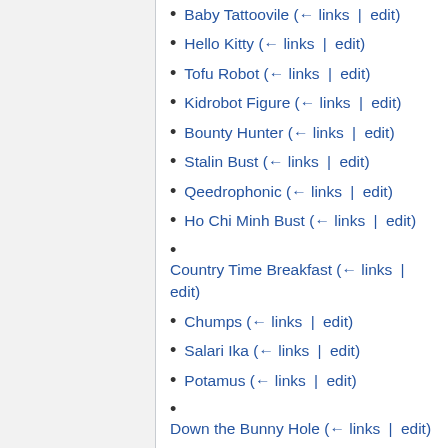Baby Tattoovile  (← links | edit)
Hello Kitty  (← links | edit)
Tofu Robot  (← links | edit)
Kidrobot Figure  (← links | edit)
Bounty Hunter  (← links | edit)
Stalin Bust  (← links | edit)
Qeedrophonic  (← links | edit)
Ho Chi Minh Bust  (← links | edit)
Country Time Breakfast  (← links | edit)
Chumps  (← links | edit)
Salari Ika  (← links | edit)
Potamus  (← links | edit)
Down the Bunny Hole  (← links | edit)
Derailed  (← links | edit)
Big Bob Slug  (← links | edit)
Zog  (← links | edit)
Fortune Cat  (← links | edit)
Ludwig Van Bust  (← links | edit)
Prin Berliner  (← links | edit)